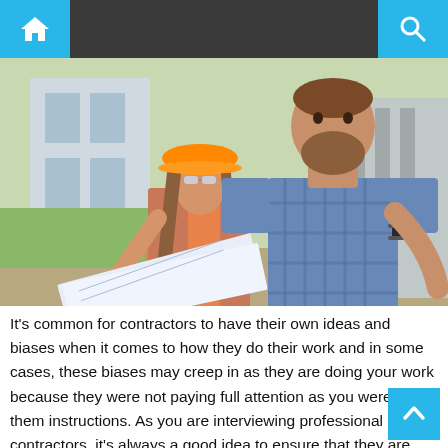Navigation bar with home and search icons
[Figure (photo): Two construction workers, a woman wearing an orange hard hat and safety glasses and a man in a plaid shirt, reviewing blueprints together outdoors near a building.]
It's common for contractors to have their own ideas and biases when it comes to how they do their work and in some cases, these biases may creep in as they are doing your work because they were not paying full attention as you were giving them instructions. As you are interviewing professional contractors, it's always a good idea to ensure that they are good listeners as this will ensure there's minimal breakdown in communication between you and